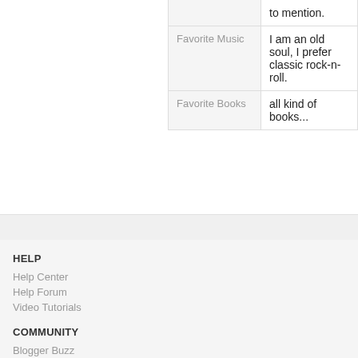| Favorite Music | I am an old soul, I prefer classic rock-n-roll. |
| Favorite Books | all kind of books... |
HELP
Help Center
Help Forum
Video Tutorials
COMMUNITY
Blogger Buzz